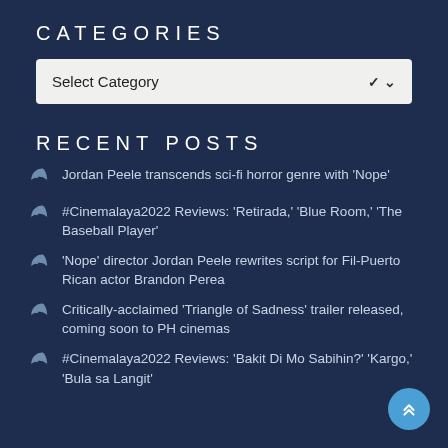CATEGORIES
Select Category
RECENT POSTS
Jordan Peele transcends sci-fi horror genre with 'Nope'
#Cinemalaya2022 Reviews: 'Retirada,' 'Blue Room,' 'The Baseball Player'
'Nope' director Jordan Peele rewrites script for Fil-Puerto Rican actor Brandon Perea
Critically-acclaimed 'Triangle of Sadness' trailer released, coming soon to PH cinemas
#Cinemalaya2022 Reviews: 'Bakit Di Mo Sabihin?' 'Kargo,' 'Bula sa Langit'